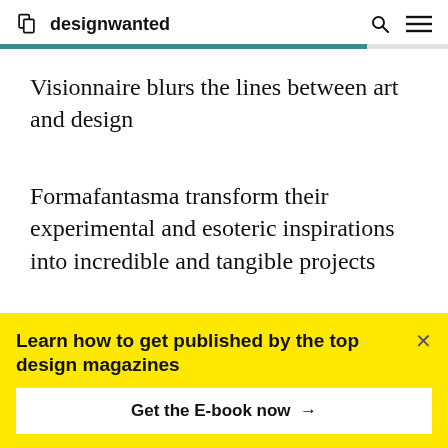designwanted
Visionnaire blurs the lines between art and design
Formafantasma transform their experimental and esoteric inspirations into incredible and tangible projects
Learn how to get published by the top design magazines
Get the E-book now →